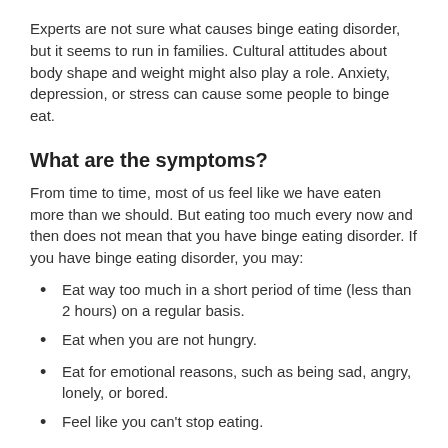Experts are not sure what causes binge eating disorder, but it seems to run in families. Cultural attitudes about body shape and weight might also play a role. Anxiety, depression, or stress can cause some people to binge eat.
What are the symptoms?
From time to time, most of us feel like we have eaten more than we should. But eating too much every now and then does not mean that you have binge eating disorder. If you have binge eating disorder, you may:
Eat way too much in a short period of time (less than 2 hours) on a regular basis.
Eat when you are not hungry.
Eat for emotional reasons, such as being sad, angry, lonely, or bored.
Feel like you can't stop eating.
Eat faster than normal when you binge eat.
Eat so much that you feel painfully full.
Feel unhappy, upset, guilty, or depressed after you binge eat.